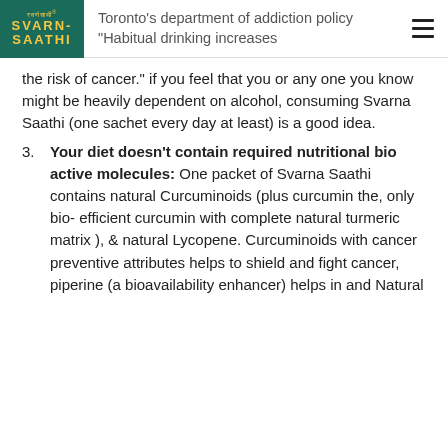Svarn Saathi logo and navigation header
Toronto's department of addiction policy "Habitual drinking increases the risk of cancer." if you feel that you or any one you know might be heavily dependent on alcohol, consuming Svarna Saathi (one sachet every day at least) is a good idea.
3. Your diet doesn't contain required nutritional bio active molecules: One packet of Svarna Saathi contains natural Curcuminoids (plus curcumin the, only bio- efficient curcumin with complete natural turmeric matrix ), & natural Lycopene. Curcuminoids with cancer preventive attributes helps to shield and fight cancer, piperine (a bioavailability enhancer) helps in and Natural